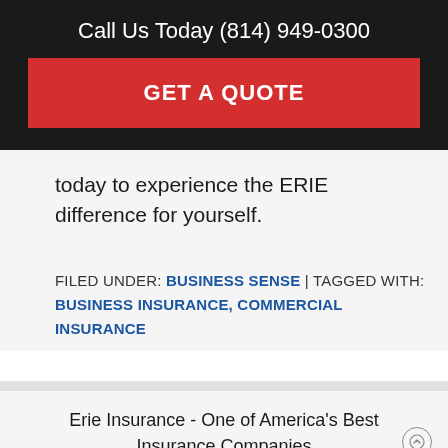Call Us Today (814) 949-0300
GET A QUOTE
today to experience the ERIE difference for yourself.
FILED UNDER: BUSINESS SENSE | TAGGED WITH: BUSINESS INSURANCE, COMMERCIAL INSURANCE
Erie Insurance - One of America's Best Insurance Companies